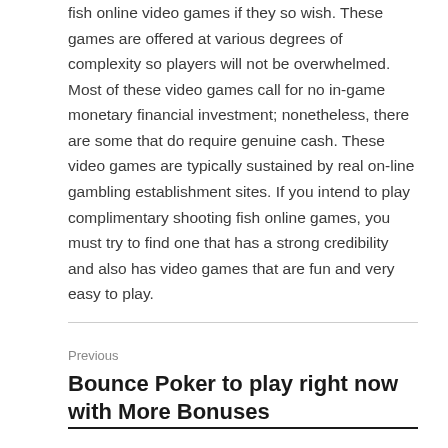fish online video games if they so wish. These games are offered at various degrees of complexity so players will not be overwhelmed. Most of these video games call for no in-game monetary financial investment; nonetheless, there are some that do require genuine cash. These video games are typically sustained by real on-line gambling establishment sites. If you intend to play complimentary shooting fish online games, you must try to find one that has a strong credibility and also has video games that are fun and very easy to play.
Previous
Bounce Poker to play right now with More Bonuses